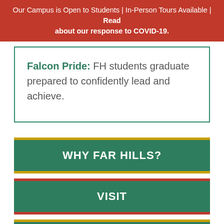Our Campus is Open to Students | In-Person Tours Available | Read about our response to COVID-19.
Falcon Pride: FH students graduate prepared to confidently lead and achieve.
WHY FAR HILLS?
VISIT